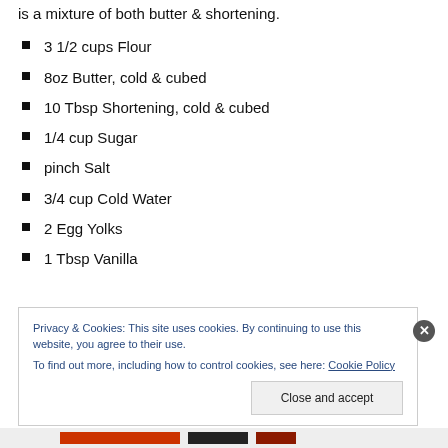is a mixture of both butter & shortening.
3 1/2 cups Flour
8oz Butter, cold & cubed
10 Tbsp Shortening, cold & cubed
1/4 cup Sugar
pinch Salt
3/4 cup Cold Water
2 Egg Yolks
1 Tbsp Vanilla
Privacy & Cookies: This site uses cookies. By continuing to use this website, you agree to their use. To find out more, including how to control cookies, see here: Cookie Policy